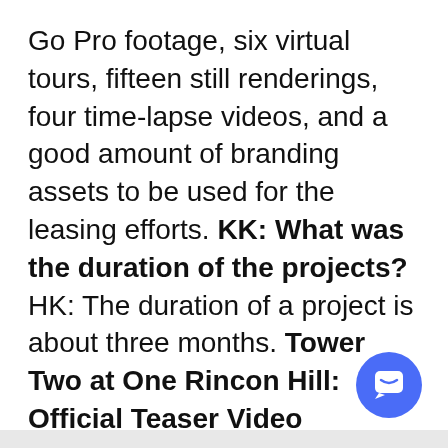Go Pro footage, six virtual tours, fifteen still renderings, four time-lapse videos, and a good amount of branding assets to be used for the leasing efforts. KK: What was the duration of the projects? HK: The duration of a project is about three months. Tower Two at One Rincon Hill: Official Teaser Video
[Figure (other): Blue circular chat/messaging button icon in the bottom-right corner]